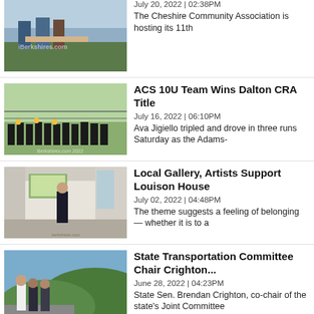[Figure (photo): Outdoor event photo with people at a table, iBerkshires.com watermark]
July 20, 2022 | 02:38PM
The Cheshire Community Association is hosting its 11th
[Figure (photo): Youth softball team in black and yellow uniforms posing with trophies on a field]
ACS 10U Team Wins Dalton CRA Title
July 16, 2022 | 06:10PM
Ava Jigiello tripled and drove in three runs Saturday as the Adams-
[Figure (photo): Woman standing in an art gallery with colorful paintings on the wall]
Local Gallery, Artists Support Louison House
July 02, 2022 | 04:48PM
The theme suggests a feeling of belonging — whether it is to a
[Figure (photo): Three men standing outdoors near a road with green hills in background]
State Transportation Committee Chair Crighton...
June 28, 2022 | 04:23PM
State Sen. Brendan Crighton, co-chair of the state's Joint Committee